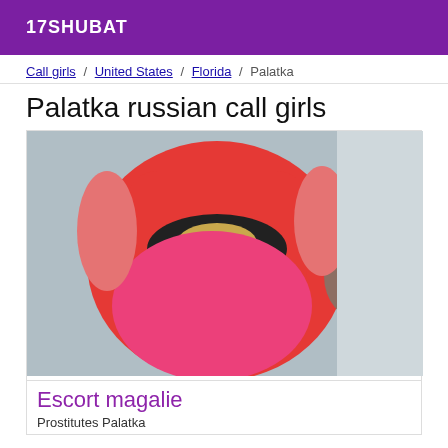17SHUBAT
Call girls / United States / Florida / Palatka
Palatka russian call girls
[Figure (photo): A person wearing a red/pink outfit with a black and gold belt/band, photographed from behind at an angle, background is light grey/white.]
Escort magalie
Prostitutes Palatka